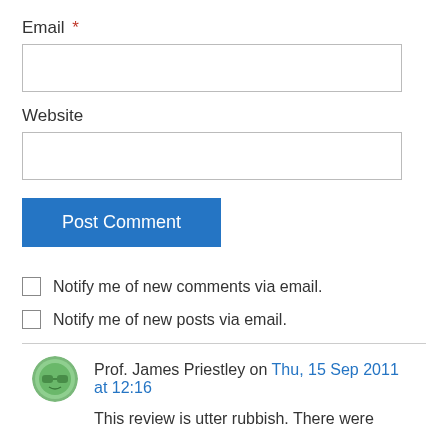Email *
Website
Post Comment
Notify me of new comments via email.
Notify me of new posts via email.
Prof. James Priestley on Thu, 15 Sep 2011 at 12:16
This review is utter rubbish. There were